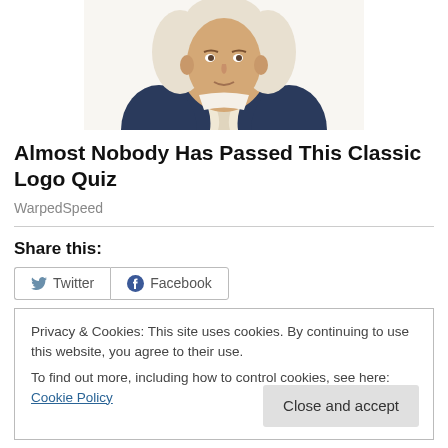[Figure (illustration): Illustrated portrait of a historical figure in colonial dress with white cravat and blue coat, white powdered wig, cropped at torso]
Almost Nobody Has Passed This Classic Logo Quiz
WarpedSpeed
Share this:
Privacy & Cookies: This site uses cookies. By continuing to use this website, you agree to their use.
To find out more, including how to control cookies, see here: Cookie Policy